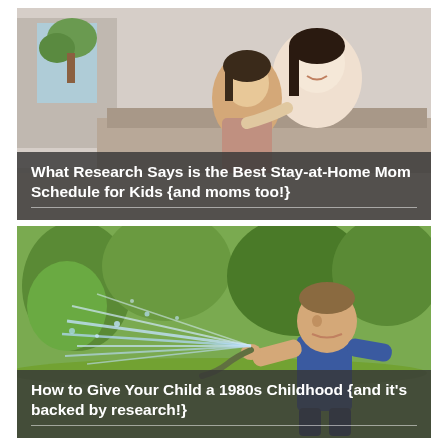[Figure (photo): A mother and young daughter looking at something together indoors, warm cozy setting]
What Research Says is the Best Stay-at-Home Mom Schedule for Kids {and moms too!}
[Figure (photo): A young boy playing outdoors with a garden hose spraying water, green trees in background]
How to Give Your Child a 1980s Childhood {and it's backed by research!}